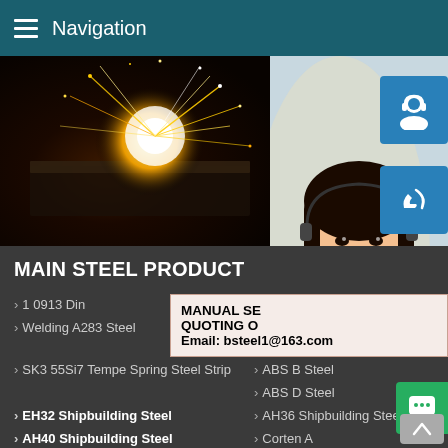Navigation
[Figure (photo): Welding sparks flying off metal in a dark industrial setting]
[Figure (photo): Customer service representative woman wearing headset, smiling]
MAIN STEEL PRODUCT
1 0913 Din
Jigs A... Steel
Welding A283 Steel
SUS316L Stainless Steel Sheet 2B Finished
SK3 55Si7 Tempe Spring Steel Strip
ABS B Steel
ABS D Steel
EH32 Shipbuilding Steel
AH36 Shipbuilding Steel
AH40 Shipbuilding Steel
Corten A
MANUAL SE QUOTING O Email: bsteel1@163.com